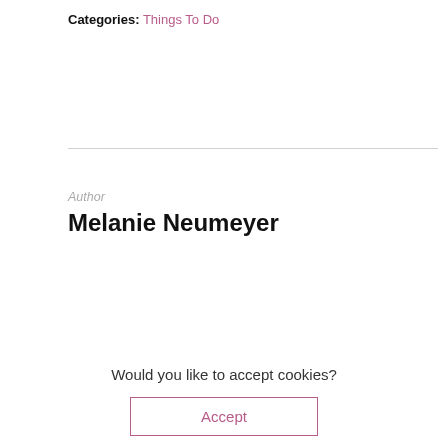Categories: Things To Do
Author
Melanie Neumeyer
You May Also Like
[Figure (screenshot): Advertisement for The Citizen Hotel with close button overlay. Shows 'Where History Meets Glamour' and 'The Citizen Hotel →' text with partial hotel building image.]
Would you like to accept cookies?
Accept